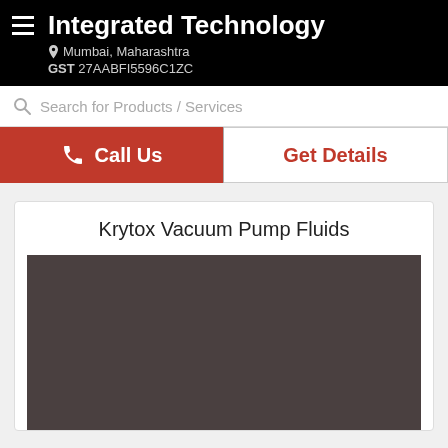Integrated Technology
Mumbai, Maharashtra
GST 27AABFI5596C1ZC
Search for Products / Services
Call Us
Get Details
Krytox Vacuum Pump Fluids
[Figure (photo): Product image placeholder — dark brownish-grey rectangle representing Krytox Vacuum Pump Fluids product photo]